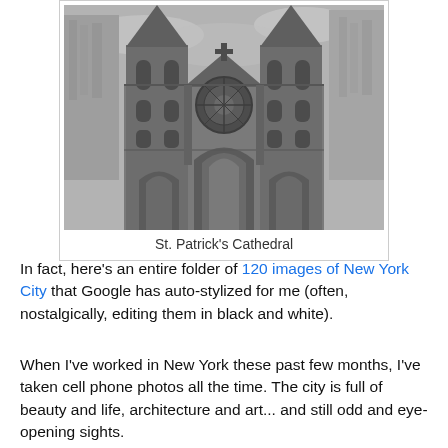[Figure (photo): Black and white photograph of St. Patrick's Cathedral in New York City, shot from below looking upward showing the Gothic facade with twin spires, rose window, pointed arches, and ornate stone detailing. Modern skyscrapers flank the cathedral.]
St. Patrick's Cathedral
In fact, here's an entire folder of 120 images of New York City that Google has auto-stylized for me (often, nostalgically, editing them in black and white).
When I've worked in New York these past few months, I've taken cell phone photos all the time. The city is full of beauty and life, architecture and art... and still odd and eye-opening sights.